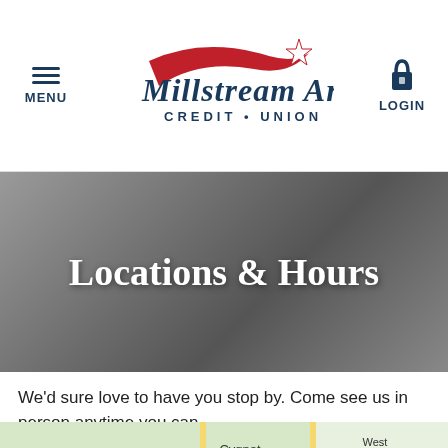MENU | Millstream Area Credit Union | LOGIN
Locations & Hours
We'd sure love to have you stop by. Come see us in person anytime you can.
[Figure (map): Google Maps view showing Cygnet, West Millgrove, Deshler area in Ohio with a red location pin marker near Cygnet, and route 199 and 23 visible.]